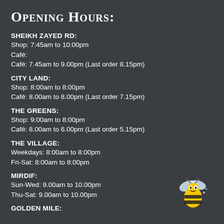Opening Hours:
SHEIKH ZAYED RD:
Shop: 7:45am to 10:00pm
Café:
Café: 7.45am to 9.00pm (Last order 8.15pm)
CITY LAND:
Shop: 8:00am to 8:00pm
Café: 8.00am to 8.00pm (Last order 7.15pm)
THE GREENS:
Shop: 9:00am to 8:00pm
Café: 8.00am to 6.00pm (Last order 5.15pm)
THE VILLAGE:
Weekdays: 8:00am to 8:00pm
Fri-Sat: 8:00am to 8:00pm
MIRDIF:
Sun-Wed: 9.00am to 10.00pm
Thu-Sat: 9.00am to 10.00pm
GOLDEN MILE:
[Figure (illustration): Cartoon bee illustration in yellow and black with wings]